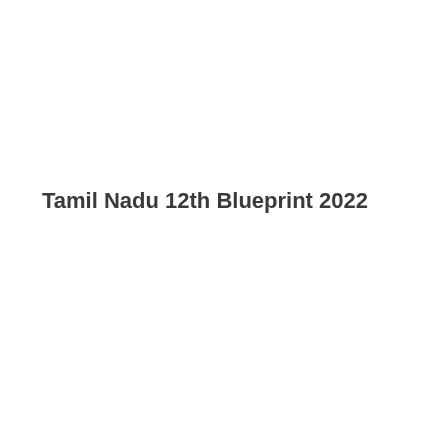Tamil Nadu 12th Blueprint 2022